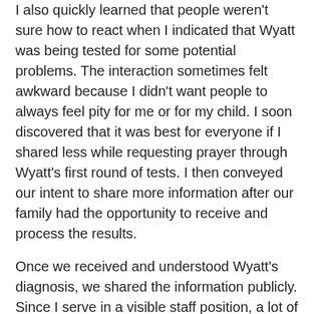I also quickly learned that people weren't sure how to react when I indicated that Wyatt was being tested for some potential problems.  The interaction sometimes felt awkward because I didn't want people to always feel pity for me or for my child.  I soon discovered that it was best for everyone if I shared less while requesting prayer through Wyatt's first round of tests.  I then conveyed our intent to share more information after our family had the opportunity to receive and process the results.
Once we received and understood Wyatt's diagnosis, we shared the information publicly. Since I serve in a visible staff position, a lot of people approached me with questions and offered prayers.  And it has been therapeutic to talk about our experiences.  Sharing openly has allowed me the opportunity to educate people about what our son was going through and for how they can specifically pray.